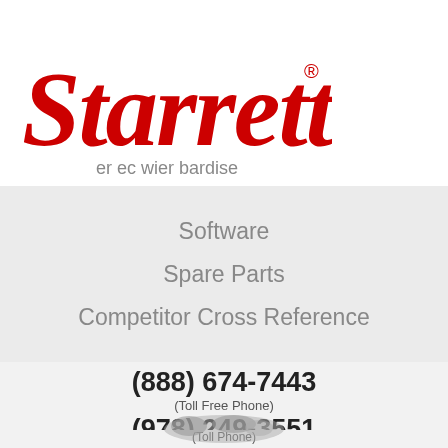[Figure (logo): Starrett red script logo with registered trademark symbol]
er ec wier bardise
Software
Spare Parts
Competitor Cross Reference
(888) 674-7443
(Toll Free Phone)
(978) 249-3551
(Toll Phone)
(978) 249-8495
(Fax)
[Figure (illustration): Partial world map globe illustration at bottom of page]